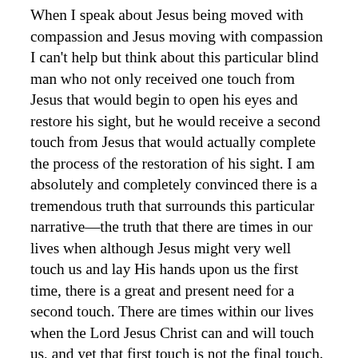When I speak about Jesus being moved with compassion and Jesus moving with compassion I can't help but think about this particular blind man who not only received one touch from Jesus that would begin to open his eyes and restore his sight, but he would receive a second touch from Jesus that would actually complete the process of the restoration of his sight. I am absolutely and completely convinced there is a tremendous truth that surrounds this particular narrative—the truth that there are times in our lives when although Jesus might very well touch us and lay His hands upon us the first time, there is a great and present need for a second touch. There are times within our lives when the Lord Jesus Christ can and will touch us, and yet that first touch is not the final touch. WHEN THE FIRST TOUCH IS NOT THE FINAL TOUCH! WHEN THE FIRST TOUCH REQUIRES A SECOND TOUCH! THERE COMES A SECOND TOUCH! OH it is truly something worth thinking about and considering when reading this particular narrative that the first touch had the power to partially restore and give some measure of